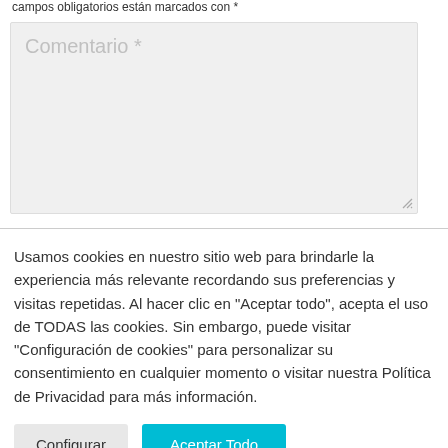campos obligatorios están marcados con *
[Figure (other): Large text input area with placeholder text 'Comentario *' on a light grey background with a resize handle in the bottom right corner]
Usamos cookies en nuestro sitio web para brindarle la experiencia más relevante recordando sus preferencias y visitas repetidas. Al hacer clic en "Aceptar todo", acepta el uso de TODAS las cookies. Sin embargo, puede visitar "Configuración de cookies" para personalizar su consentimiento en cualquier momento o visitar nuestra Política de Privacidad para más información.
Configurar
Aceptar Todo